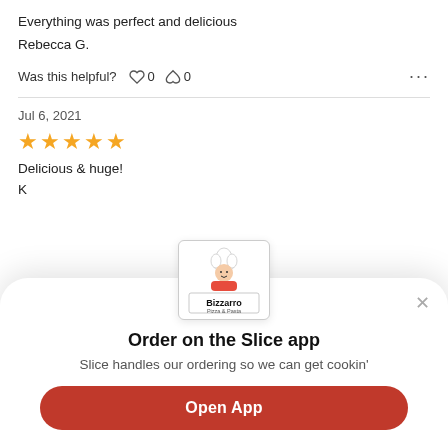Everything was perfect and delicious
Rebecca G.
Was this helpful? ♡ 0   ⬡ 0   ...
Jul 6, 2021
★★★★★
Delicious & huge!
[Figure (logo): Bizzarro Pizza & Pasta logo with cartoon chef]
Order on the Slice app
Slice handles our ordering so we can get cookin'
Open App